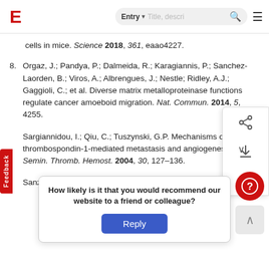E [logo] Entry ▾ Title, descri... 🔍 ☰
cells in mice. Science 2018, 361, eaao4227.
8. Orgaz, J.; Pandya, P.; Dalmeida, R.; Karagiannis, P.; Sanchez-Laorden, B.; Viros, A.; Albrengues, J.; Nestle; Ridley, A.J.; Gaggioli, C.; et al. Diverse matrix metalloproteinase functions regulate cancer amoeboid migration. Nat. Commun. 2014, 5, 4255.
Sargiannidou, I.; Qiu, C.; Tuszynski, G.P. Mechanisms of thrombospondin-1-mediated metastasis and angiogenesis. Semin. Thromb. Hemost. 2004, 30, 127–136.
Sanz-Moreno, V.; Balkwill, F.R. Mets and NETs: Threatening...
How likely is it that you would recommend our website to a friend or colleague?
Reply